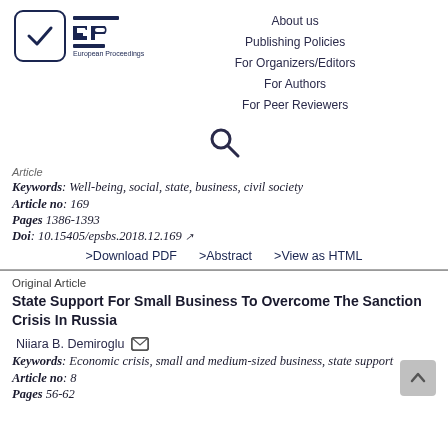[Figure (logo): European Proceedings logo with checkmark in box and EP symbol with horizontal lines]
About us
Publishing Policies
For Organizers/Editors
For Authors
For Peer Reviewers
[Figure (other): Search icon (magnifying glass)]
Article
Keywords: Well-being, social, state, business, civil society
Article no: 169
Pages 1386-1393
Doi: 10.15405/epsbs.2018.12.169
>Download PDF    >Abstract    >View as HTML
Original Article
State Support For Small Business To Overcome The Sanction Crisis In Russia
Niiara B. Demiroglu
Keywords: Economic crisis, small and medium-sized business, state support
Article no: 8
Pages 56-62